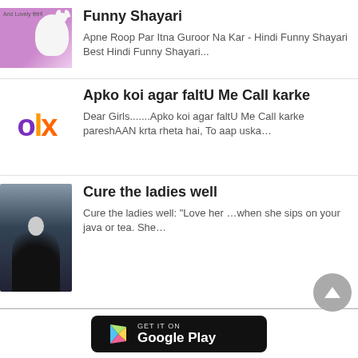[Figure (photo): Thumbnail image with pink background showing a white cat and product packaging with text 'And Lovely' in Hindi]
Funny Shayari
Apne Roop Par Itna Guroor Na Kar - Hindi Funny Shayari Best Hindi Funny Shayari...
[Figure (logo): OLX logo with purple O, orange L, and orange-red X]
Apko koi agar faltU Me Call karke
Dear Girls.......Apko koi agar faltU Me Call karke pareshAAN krta rheta hai, To aap uska…
[Figure (photo): Woman in a dark ballgown dress in a misty forest setting]
Cure the ladies well
Cure the ladies well: "Love her …when she sips on your java or tea. She…
[Figure (other): Get it on Google Play button - black rounded rectangle with Play Store icon]
[Figure (other): Donate with Paytm button]
[Figure (other): Scroll to top grey circular button with triangle/arrow icon]